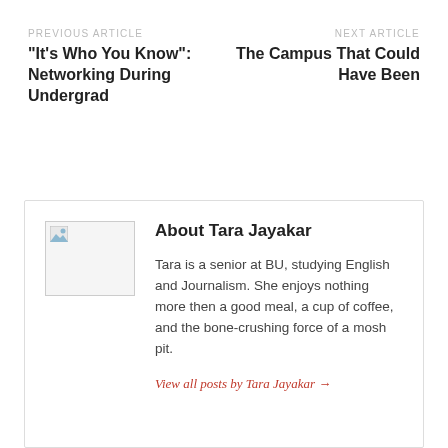PREVIOUS ARTICLE
“It’s Who You Know”: Networking During Undergrad
NEXT ARTICLE
The Campus That Could Have Been
[Figure (photo): Author photo placeholder for Tara Jayakar]
About Tara Jayakar
Tara is a senior at BU, studying English and Journalism. She enjoys nothing more then a good meal, a cup of coffee, and the bone-crushing force of a mosh pit.
View all posts by Tara Jayakar →